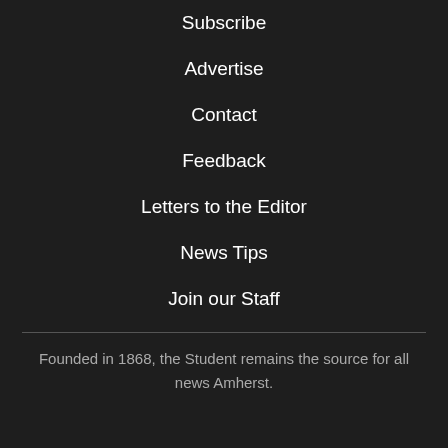Subscribe
Advertise
Contact
Feedback
Letters to the Editor
News Tips
Join our Staff
Founded in 1868, the Student remains the source for all news Amherst.